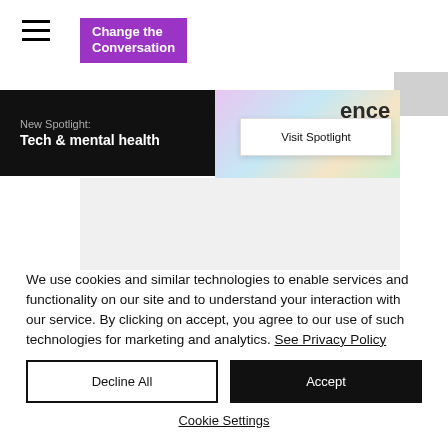Change the Conversation
New Spotlight: Tech & mental health
Visit Spotlight
ence
We use cookies and similar technologies to enable services and functionality on our site and to understand your interaction with our service. By clicking on accept, you agree to our use of such technologies for marketing and analytics. See Privacy Policy
Decline All
Accept
Cookie Settings